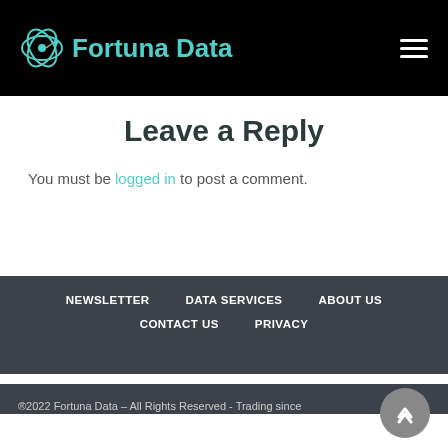Fortuna Data
Leave a Reply
You must be logged in to post a comment.
NEWSLETTER   DATA SERVICES   ABOUT US   CONTACT US   PRIVACY   ®2022 Fortuna Data – All Rights Reserved - Trading since